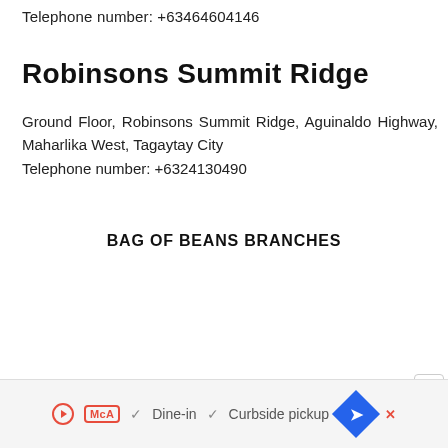Telephone number: +63464604146
Robinsons Summit Ridge
Ground Floor, Robinsons Summit Ridge, Aguinaldo Highway, Maharlika West, Tagaytay City
Telephone number: +6324130490
BAG OF BEANS BRANCHES
[Figure (other): Bottom advertisement banner showing McDonald's logo with 'Dine-in' and 'Curbside pickup' options and a blue diamond navigation icon]